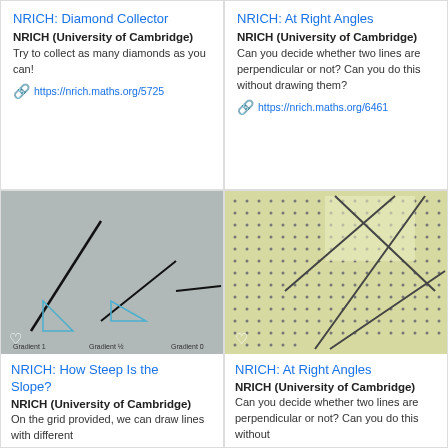NRICH: Diamond Collector
NRICH (University of Cambridge)
Try to collect as many diamonds as you can!
https://nrich.maths.org/5725
NRICH: At Right Angles
NRICH (University of Cambridge)
Can you decide whether two lines are perpendicular or not? Can you do this without drawing them?
https://nrich.maths.org/6461
[Figure (illustration): Graph showing lines with different gradients on a grey background, labeled Gradient 1, Gradient 1/2, Gradient 0]
NRICH: How Steep Is the Slope?
NRICH (University of Cambridge)
On the grid provided, we can draw lines with different
[Figure (illustration): Dot grid with intersecting lines on a yellow-green background, illustrating perpendicular or non-perpendicular lines]
NRICH: At Right Angles
NRICH (University of Cambridge)
Can you decide whether two lines are perpendicular or not? Can you do this without